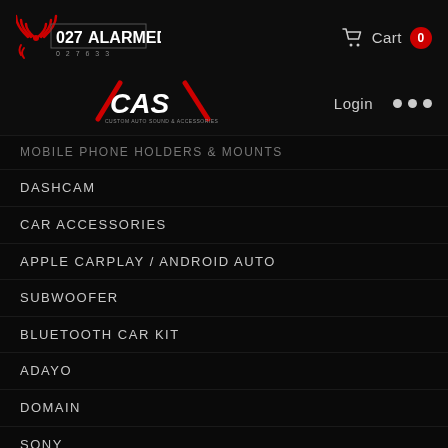[Figure (logo): 027 Alarmed logo with red signal icon and phone number]
[Figure (logo): CAS Custom Auto Sound & Accessories logo]
Cart 0
Login
MOBILE PHONE HOLDERS & MOUNTS
DASHCAM
CAR ACCESSORIES
APPLE CARPLAY / ANDROID AUTO
SUBWOOFER
BLUETOOTH CAR KIT
ADAYO
DOMAIN
SONY
KENWOOD
JVC
CAR AUDIO